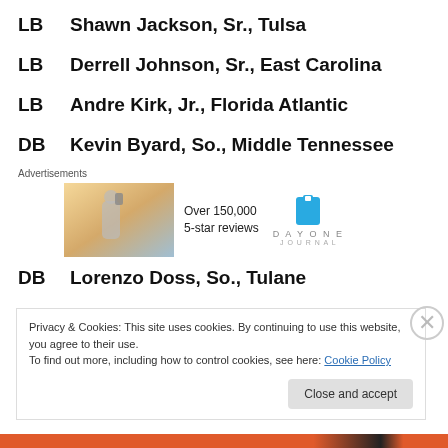LB    Shawn Jackson, Sr., Tulsa
LB    Derrell Johnson, Sr., East Carolina
LB    Andre Kirk, Jr., Florida Atlantic
DB    Kevin Byard, So., Middle Tennessee
[Figure (other): Advertisement block with image, Over 150,000 5-star reviews text, and DayOne Journal logo]
DB    Lorenzo Doss, So., Tulane
Privacy & Cookies: This site uses cookies. By continuing to use this website, you agree to their use.
To find out more, including how to control cookies, see here: Cookie Policy
Close and accept